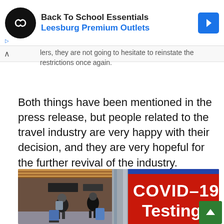[Figure (other): Advertisement banner for Leesburg Premium Outlets Back To School Essentials with infinity logo and navigation icon]
lers, they are not going to hesitate to reinstate the restrictions once again.
Both things have been mentioned in the press release, but people related to the travel industry are very happy with their decision, and they are very hopeful for the further revival of the industry.
[Figure (photo): Airport scene showing travelers with luggage next to a red COVID-19 Testing sign]
[Figure (other): Green scroll-to-top button with upward arrow]